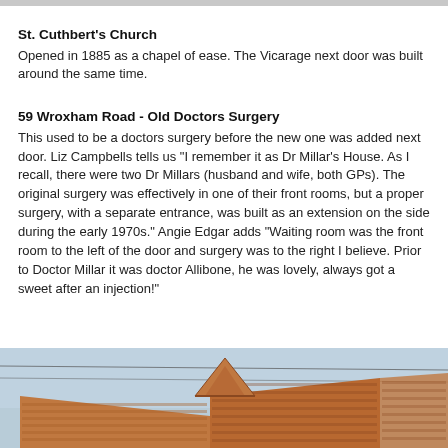St. Cuthbert's Church
Opened in 1885 as a chapel of ease. The Vicarage next door was built around the same time.
59 Wroxham Road - Old Doctors Surgery
This used to be a doctors surgery before the new one was added next door. Liz Campbells tells us "I remember it as Dr Millar's House. As I recall, there were two Dr Millars (husband and wife, both GPs). The original surgery was effectively in one of their front rooms, but a proper surgery, with a separate entrance, was built as an extension on the side during the early 1970s." Angie Edgar adds "Waiting room was the front room to the left of the door and surgery was to the right I believe. Prior to Doctor Millar it was doctor Allibone, he was lovely, always got a sweet after an injection!"
[Figure (photo): Photograph of a church building showing the tiled roof with a pointed gable, against a light blue sky background.]